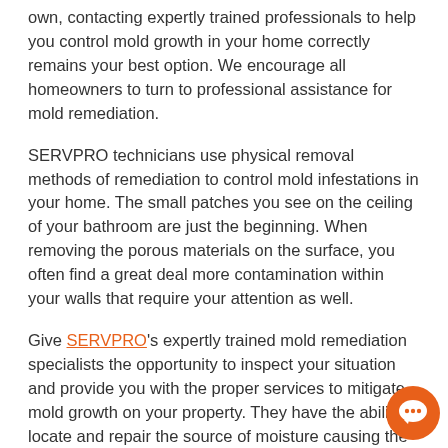own, contacting expertly trained professionals to help you control mold growth in your home correctly remains your best option. We encourage all homeowners to turn to professional assistance for mold remediation.
SERVPRO technicians use physical removal methods of remediation to control mold infestations in your home. The small patches you see on the ceiling of your bathroom are just the beginning. When removing the porous materials on the surface, you often find a great deal more contamination within your walls that require your attention as well.
Give SERVPRO's expertly trained mold remediation specialists the opportunity to inspect your situation and provide you with the proper services to mitigate mold growth on your property. They have the ability to locate and repair the source of moisture causing the problem, access to professional extraction and drying equipment to remove water faster, and experience in handling and disposing of infected materials correctly.
Allow us to help provide you and your family with a clean,
[Figure (other): Orange circular chat bubble icon in the bottom-right corner of the page]